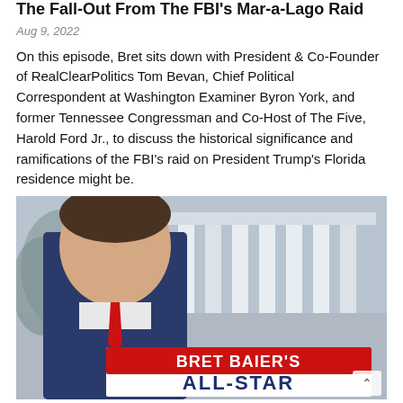The Fall-Out From The FBI's Mar-a-Lago Raid
Aug 9, 2022
On this episode, Bret sits down with President & Co-Founder of RealClearPolitics Tom Bevan, Chief Political Correspondent at Washington Examiner Byron York, and former Tennessee Congressman and Co-Host of The Five, Harold Ford Jr., to discuss the historical significance and ramifications of the FBI's raid on President Trump's Florida residence might be.
[Figure (photo): Promotional photo of Bret Baier in front of the White House, with a lower-third graphic reading 'BRET BAIER'S ALL-STAR']